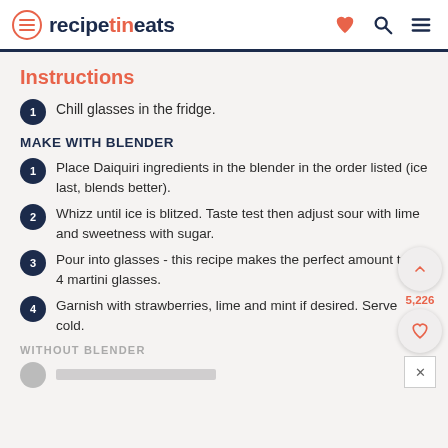recipetineats
Instructions
1 Chill glasses in the fridge.
MAKE WITH BLENDER
1 Place Daiquiri ingredients in the blender in the order listed (ice last, blends better).
2 Whizz until ice is blitzed. Taste test then adjust sour with lime and sweetness with sugar.
3 Pour into glasses - this recipe makes the perfect amount to fill 4 martini glasses.
4 Garnish with strawberries, lime and mint if desired. Serve cold.
WITHOUT BLENDER